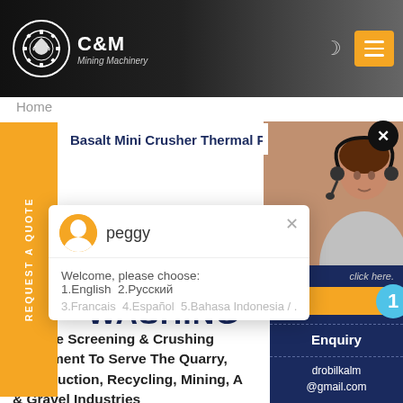C&M Mining Machinery
Home
Basalt Mini Crusher Thermal Plant A
peggy
Welcome, please choose: 1.English  2.Русский
3.Francais  4.Español  5.Bahasa Indonesia  4...
CRUSHING | SCREEN WASHING
Provide Screening & Crushing Equipment To Serve The Quarry, Construction, Recycling, Mining, And Sand & Gravel Industries
REQUEST A QUOTE
click here.
Qu
1
Enquiry
drobilkalm @gmail.com